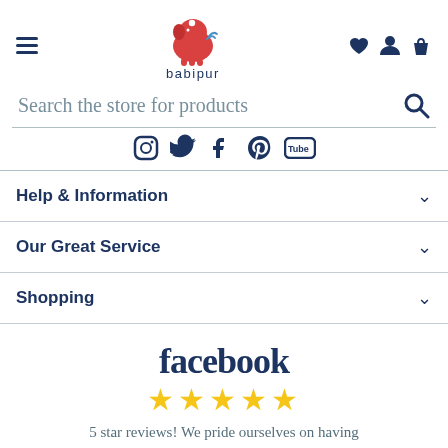[Figure (logo): Babipur logo: red elephant with moon and splash, with text 'babipur' below]
Search the store for products
[Figure (illustration): Social media icons: Instagram, Twitter, Facebook, Pinterest, YouTube]
Help & Information
Our Great Service
Shopping
[Figure (logo): Facebook logo text in dark blue]
★★★★★
5 star reviews! We pride ourselves on having happy customers - See for yourself